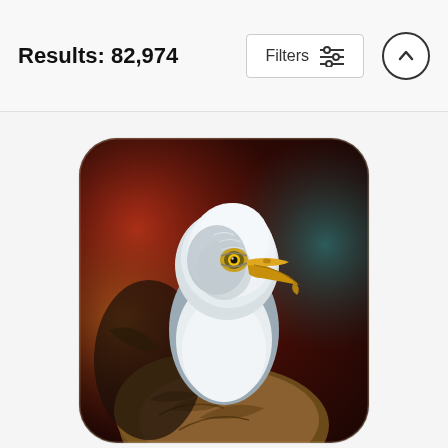Results: 82,974
[Figure (illustration): A decorative throw pillow featuring an oil painting of a bald eagle portrait. The eagle has white head feathers, yellow beak, and brown body feathers. Background is dark with red and teal painterly textures.]